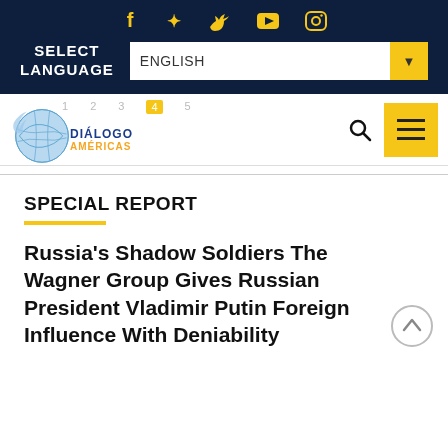[Figure (screenshot): Social media icons row: Facebook, Twitter, YouTube, Instagram in gold/yellow color on dark navy background]
SELECT LANGUAGE
[Figure (screenshot): Language selector dropdown showing ENGLISH with gold dropdown arrow button]
[Figure (logo): Diálogo Américas logo with globe graphic and text DIÁLOGO in blue and AMÉRICAS in orange/gold]
[Figure (screenshot): Search icon (magnifying glass) and yellow hamburger menu button]
SPECIAL REPORT
Russia's Shadow Soldiers The Wagner Group Gives Russian President Vladimir Putin Foreign Influence With Deniability